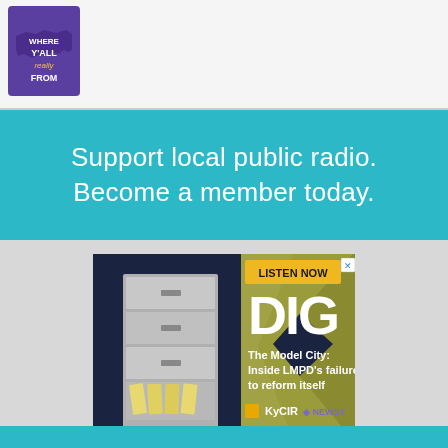[Figure (logo): Logo with Kentucky state shape in purple, text 'WHERE Y'ALL really FROM' in white/yellow]
Support local public radio.
Become a member today.
[Figure (illustration): DIG podcast ad: 'The Model City: Inside LMPD's failure to reform itself' by KyCIR and Newsy, with LISTEN NOW button and filing cabinet illustration]